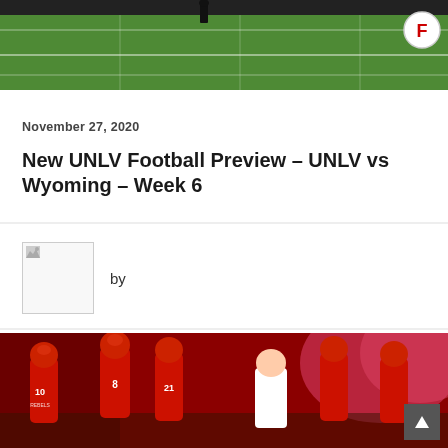[Figure (photo): Football field aerial/ground view with green turf and yard lines, person visible on field, logo circle with letter F in top right corner]
November 27, 2020
New UNLV Football Preview – UNLV vs Wyoming – Week 6
by
[Figure (photo): UNLV Rebels football team running onto field in red uniforms with smoke effects, coach in white polo shirt leading team, jersey numbers 10, 21, 8 visible]